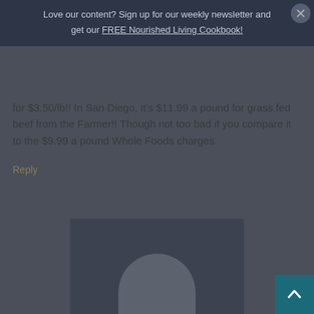Love our content? Sign up for our weekly newsletter and get our FREE Nourished Living Cookbook!
for $3.50/lb!! In San Diego, it's $11.99 a pound for grass fed beef from the Farmer!! Though not too bad if you compare it to the $9.99 a pound Whole Foods charges.
Reply
[Figure (photo): User avatar placeholder image showing a silhouette shape on dark background]